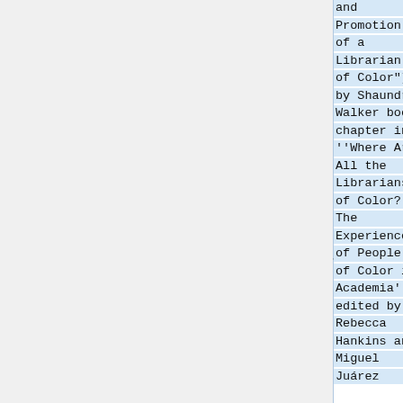and Promotion of a Librarian of Color"] by Shaundra Walker book chapter in ''Where Are All the Librarians of Color? The Experiences of People of Color in Academia'', edited by Rebecca Hankins and Miguel Juárez